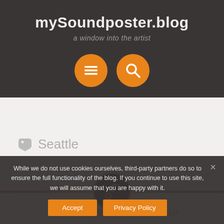mySoundposter.blog
a window into the artist
[Figure (other): Two orange circular icon buttons: a hamburger menu icon (three horizontal lines) and a search/magnifier icon]
Seattle
[Figure (logo): Music note icon in an orange/gold color on a dark circle background with a yellow-green border ring]
The Campfire Fellowship
While we do not use cookies ourselves, third-party partners do so to ensure the full functionality of the blog. If you continue to use this site, we will assume that you are happy with it.
Accept
Privacy Policy